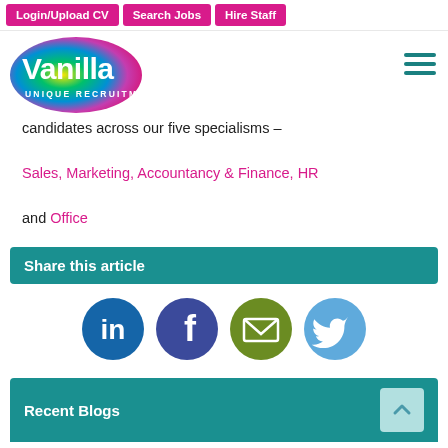Login/Upload CV | Search Jobs | Hire Staff
[Figure (logo): Vanilla Unique Recruitment logo with colorful circle design]
candidates across our five specialisms – Sales, Marketing, Accountancy & Finance, HR and Office
Share this article
[Figure (infographic): Social media share icons: LinkedIn (blue circle), Facebook (dark blue circle), Email (green circle), Twitter (light blue circle)]
Recent Blogs
Eloise's August 2022 News – Lionesses, Commonwealth Games, Recruitment Update, Hybrid